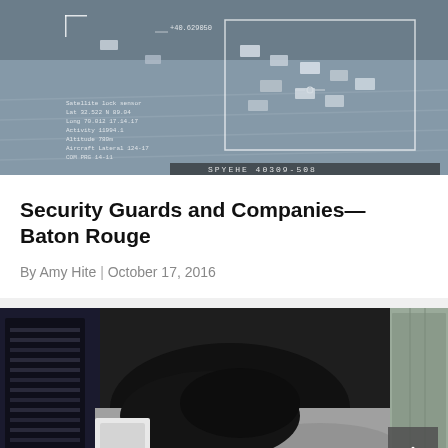[Figure (photo): Aerial surveillance camera view of a highway/road with cars, overlaid with HUD targeting grid and data readouts in a bluish-gray color scheme]
Security Guards and Companies — Baton Rouge
By Amy Hite | October 17, 2016
[Figure (photo): Close-up security camera footage showing a person in dark clothing on the ground near equipment, grainy and low-resolution]
Who's Guarding Your Security